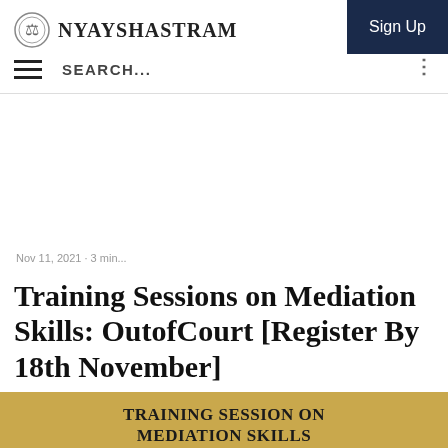NYAYSHASTRAM
Sign Up
SEARCH...
Training Sessions on Mediation Skills: OutofCourt [Register By 18th November]
[Figure (infographic): Gold banner with text TRAINING SESSION ON MEDIATION SKILLS and a partially visible white card with a circular portrait photo and italic text about mediation]